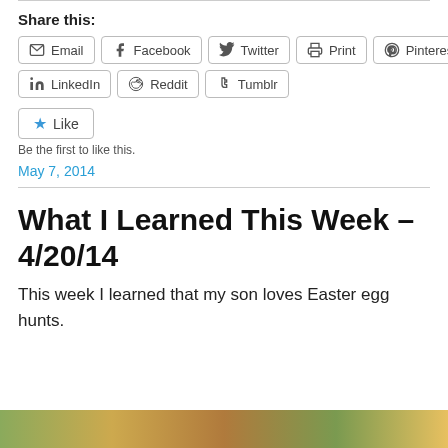Share this:
Email  Facebook  Twitter  Print  Pinterest
LinkedIn  Reddit  Tumblr
Like
Be the first to like this.
May 7, 2014
What I Learned This Week – 4/20/14
This week I learned that my son loves Easter egg hunts.
[Figure (photo): Bottom strip showing an outdoor Easter egg hunt scene with colorful eggs in grass]